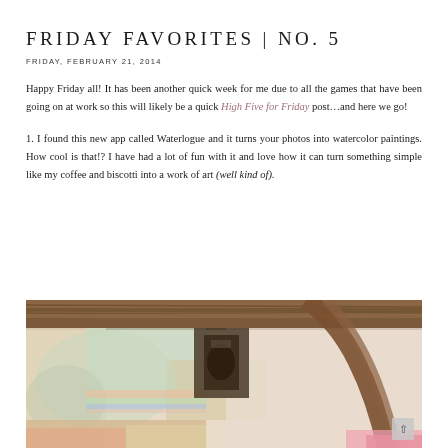FRIDAY FAVORITES | NO. 5
FRIDAY, FEBRUARY 21, 2014
Happy Friday all! It has been another quick week for me due to all the games that have been going on at work so this will likely be a quick High Five for Friday post…and here we go!
1. I found this new app called Waterlogue and it turns your photos into watercolor paintings. How cool is that!? I have had a lot of fun with it and love how it can turn something simple like my coffee and biscotti into a work of art (well kind of).
[Figure (photo): A watercolor-style photo of coffee and biscotti, showing artistic colorful painting effect with warm brown tones and colorful accents]